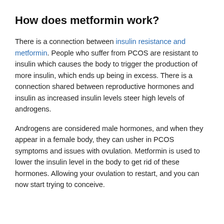How does metformin work?
There is a connection between insulin resistance and metformin. People who suffer from PCOS are resistant to insulin which causes the body to trigger the production of more insulin, which ends up being in excess. There is a connection shared between reproductive hormones and insulin as increased insulin levels steer high levels of androgens.
Androgens are considered male hormones, and when they appear in a female body, they can usher in PCOS symptoms and issues with ovulation. Metformin is used to lower the insulin level in the body to get rid of these hormones. Allowing your ovulation to restart, and you can now start trying to conceive.